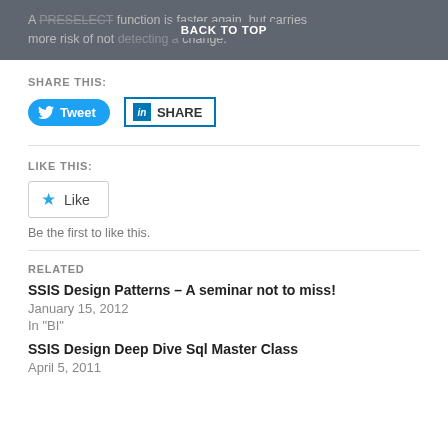A PRESELECT function is faster again, but carries more risk of not detecting a change.
BACK TO TOP
SHARE THIS:
[Figure (other): Tweet button (Twitter) and LinkedIn Share button]
LIKE THIS:
[Figure (other): Like button with star icon]
Be the first to like this.
RELATED
SSIS Design Patterns – A seminar not to miss!
January 15, 2012
In "BI"
SSIS Design Deep Dive Sql Master Class
April 5, 2011